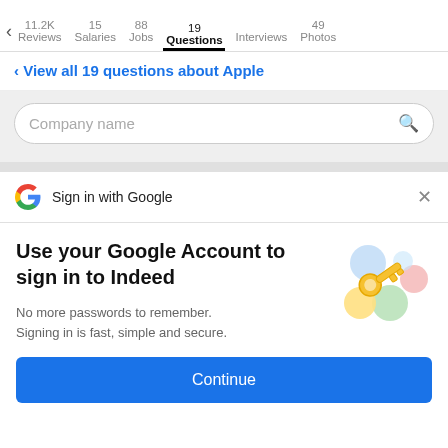11.2K Reviews | 15 Salaries | 88 Jobs | 19 Questions | Interviews | 49 Photos
< View all 19 questions about Apple
[Figure (screenshot): Search box with placeholder 'Company name' and search icon]
[Figure (screenshot): Sign in with Google banner with G logo and X close button]
Use your Google Account to sign in to Indeed
No more passwords to remember.
Signing in is fast, simple and secure.
[Figure (illustration): Colorful key illustration with circles in blue, yellow, green, and pink]
Continue